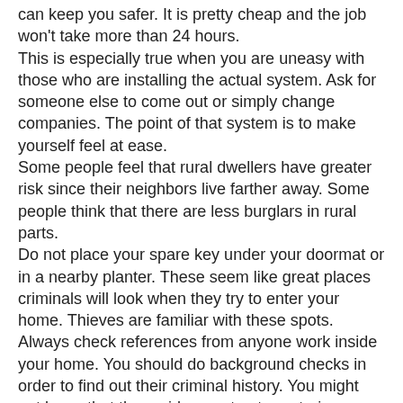can keep you safer. It is pretty cheap and the job won't take more than 24 hours.
This is especially true when you are uneasy with those who are installing the actual system. Ask for someone else to come out or simply change companies. The point of that system is to make yourself feel at ease.
Some people feel that rural dwellers have greater risk since their neighbors live farther away. Some people think that there are less burglars in rural parts.
Do not place your spare key under your doormat or in a nearby planter. These seem like great places criminals will look when they try to enter your home. Thieves are familiar with these spots.
Always check references from anyone work inside your home. You should do background checks in order to find out their criminal history. You might not know that the maid or contractor entering your home is a crook, and giving them access can work against you.
Rather than hoping nothing bad ever happens to your family or you, have a more realistic view of the world. At any time, you can be a victim of a burglary. If you make use of the advice you've just read, you should be able to make your home into a safer and more secure environment for your family.